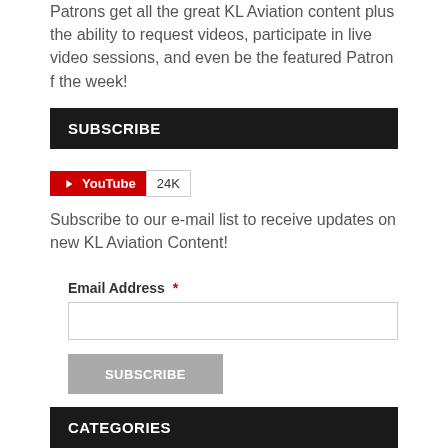Patrons get all the great KL Aviation content plus the ability to request videos, participate in live video sessions, and even be the featured Patron f the week!
SUBSCRIBE
[Figure (other): YouTube subscribe button showing 24K subscribers]
Subscribe to our e-mail list to receive updates on new KL Aviation Content!
Email Address * [input field] SUBSCRIBE button
CATEGORIES